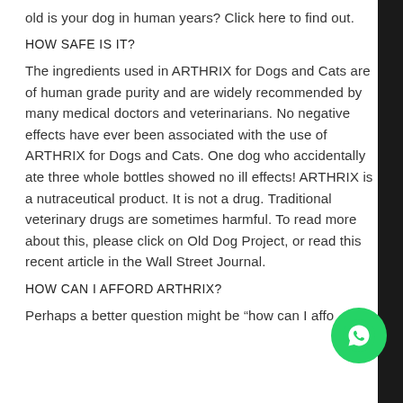old is your dog in human years? Click here to find out.
HOW SAFE IS IT?
The ingredients used in ARTHRIX for Dogs and Cats are of human grade purity and are widely recommended by many medical doctors and veterinarians. No negative effects have ever been associated with the use of ARTHRIX for Dogs and Cats. One dog who accidentally ate three whole bottles showed no ill effects! ARTHRIX is a nutraceutical product. It is not a drug. Traditional veterinary drugs are sometimes harmful. To read more about this, please click on Old Dog Project, or read this recent article in the Wall Street Journal.
HOW CAN I AFFORD ARTHRIX?
Perhaps a better question might be “how can I affo…